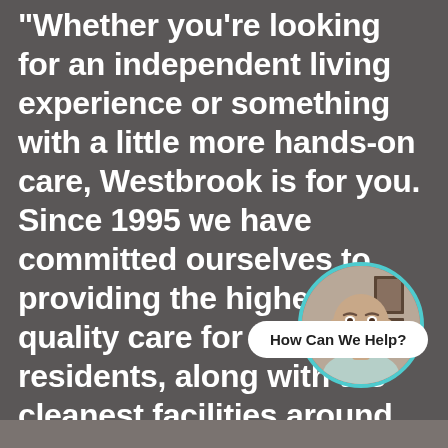"Whether you're looking for an independent living experience or something with a little more hands-on care, Westbrook is for you. Since 1995 we have committed ourselves to providing the highest quality care for our residents, along with the cleanest facilities around.
[Figure (other): Circular avatar showing a bald man with a beard wearing a light blue shirt, framed with a teal border circle. A 'How Can We Help?' chat button appears nearby with an X close icon.]